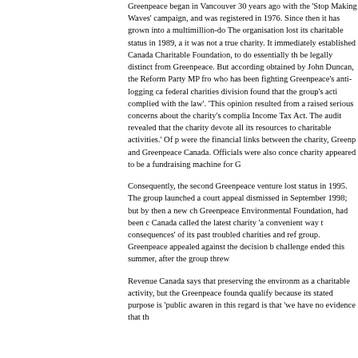Greenpeace began in Vancouver 30 years ago with the 'Stop Making Waves' campaign, and was registered in 1976. Since then it has grown into a multimillion-do... The organisation lost its charitable status in 1989, a... it was not a true charity. It immediately established ... Canada Charitable Foundation, to do essentially th... be legally distinct from Greenpeace. But according ... obtained by John Duncan, the Reform Party MP fro... who has been fighting Greenpeace's anti-logging c... federal charities division found that the group's acti... complied with the law'. 'This opinion resulted from a... raised serious concerns about the charity's complia... Income Tax Act. The audit revealed that the charity ... devote all its resources to charitable activities.' Of p... were the financial links between the charity, Greenp... and Greenpeace Canada. Officials were also conce... charity appeared to be a fundraising machine for G...
Consequently, the second Greenpeace venture lost... status in 1995. The group launched a court appeal... dismissed in September 1998; but by then a new ch... Greenpeace Environmental Foundation, had been c... Canada called the latest charity 'a convenient way t... consequences' of its past troubled charities and ref... group. Greenpeace appealed against the decision b... challenge ended this summer, after the group threw...
Revenue Canada says that preserving the environm... as a charitable activity, but the Greenpeace founda... qualify because its stated purpose is 'public awaren... in this regard is that 'we have no evidence that th...